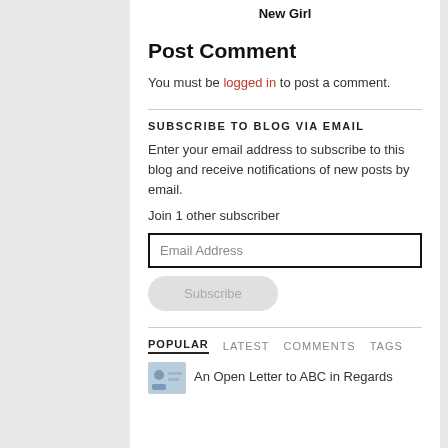New Girl
Post Comment
You must be logged in to post a comment.
SUBSCRIBE TO BLOG VIA EMAIL
Enter your email address to subscribe to this blog and receive notifications of new posts by email.
Join 1 other subscriber
Email Address
Subscribe
POPULAR   LATEST   COMMENTS   TAGS
An Open Letter to ABC in Regards